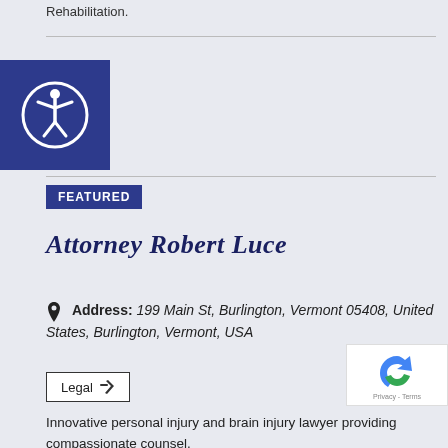Rehabilitation.
[Figure (logo): Accessibility icon - white person in circle on dark blue square background]
FEATURED
Attorney Robert Luce
Address: 199 Main St, Burlington, Vermont 05408, United States, Burlington, Vermont, USA
Legal
Innovative personal injury and brain injury lawyer providing compassionate counsel. Bob Luce has been practicing law for more than three decades, but for the past 15 years, he has focused on helping clients achieve exceptional recoveries in personal injury cases, including those relating to traumatic brain injury, concussion and head